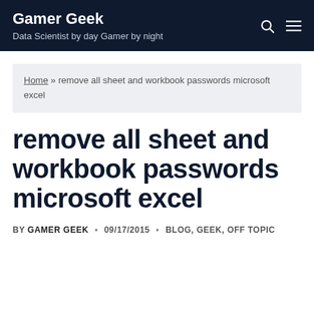Gamer Geek — Data Scientist by day Gamer by night
Home » remove all sheet and workbook passwords microsoft excel
remove all sheet and workbook passwords microsoft excel
BY GAMER GEEK • 09/17/2015 • BLOG, GEEK, OFF TOPIC